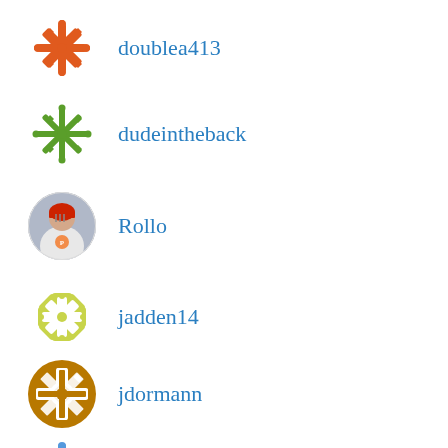doublea413
dudeintheback
Rollo
jadden14
jdormann
jonhjelly